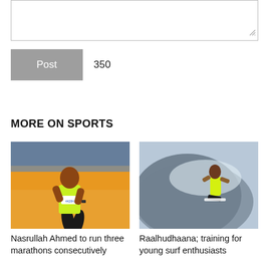[Figure (screenshot): Empty textarea input box with resize handle at bottom right]
Post   350
MORE ON SPORTS
[Figure (photo): Nasrullah Ahmed running a marathon in a neon green vest, race bib number 44284, orange festival backdrop]
Nasrullah Ahmed to run three marathons consecutively
[Figure (photo): A surfer riding a large wave, wearing a neon yellow top, dramatic sea spray]
Raalhudhaana; training for young surf enthusiasts